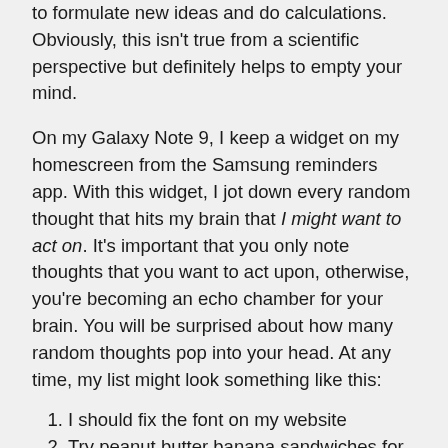to formulate new ideas and do calculations. Obviously, this isn't true from a scientific perspective but definitely helps to empty your mind.
On my Galaxy Note 9, I keep a widget on my homescreen from the Samsung reminders app. With this widget, I jot down every random thought that hits my brain that I might want to act on. It's important that you only note thoughts that you want to act upon, otherwise, you're becoming an echo chamber for your brain. You will be surprised about how many random thoughts pop into your head. At any time, my list might look something like this:
I should fix the font on my website
Try peanut butter banana sandwiches for lunch